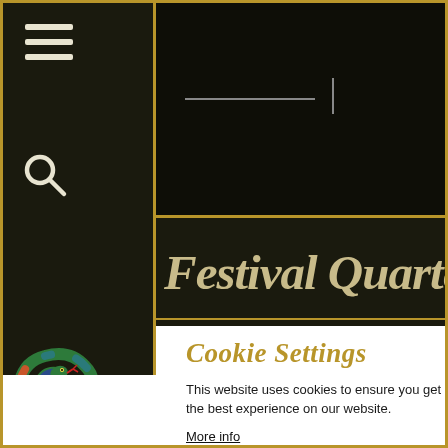[Figure (screenshot): Festival Quarter website screenshot showing navigation sidebar with hamburger menu and search icon, top navigation area with search bar, Festival Quarter title in gold italic serif font, and a cookie settings dialog with Essential/Analytics/Youtube checkboxes and Accept All/Reject All buttons]
Cookie Settings
This website uses cookies to ensure you get the best experience on our website. More info
Essential  Analytics  Youtube
Accept All  Reject All